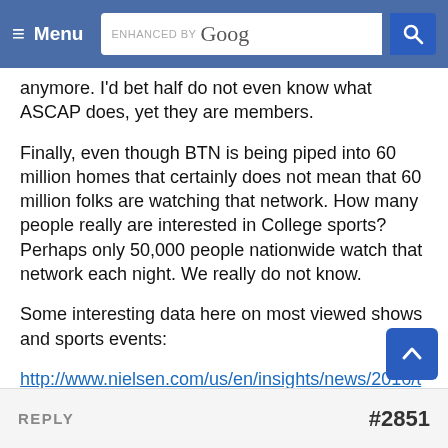≡ Menu | ENHANCED BY Google [search]
anymore. I'd bet half do not even know what ASCAP does, yet they are members.
Finally, even though BTN is being piped into 60 million homes that certainly does not mean that 60 million folks are watching that network. How many people really are interested in College sports? Perhaps only 50,000 people nationwide watch that network each night. We really do not know.
Some interesting data here on most viewed shows and sports events:
http://www.nielsen.com/us/en/insights/news/2016/tops-of-2016-tv.html
REPLY   #2851